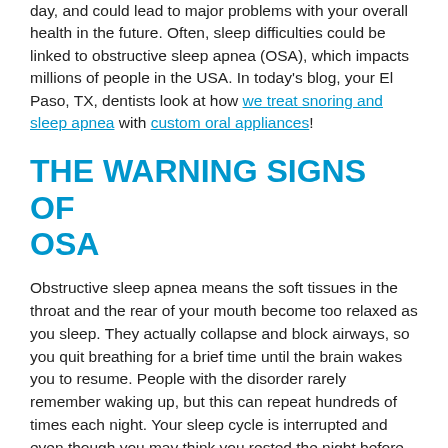day, and could lead to major problems with your overall health in the future. Often, sleep difficulties could be linked to obstructive sleep apnea (OSA), which impacts millions of people in the USA. In today's blog, your El Paso, TX, dentists look at how we treat snoring and sleep apnea with custom oral appliances!
THE WARNING SIGNS OF OSA
Obstructive sleep apnea means the soft tissues in the throat and the rear of your mouth become too relaxed as you sleep. They actually collapse and block airways, so you quit breathing for a brief time until the brain wakes you to resume. People with the disorder rarely remember waking up, but this can repeat hundreds of times each night. Your sleep cycle is interrupted and even though you may think you rested the night before, you're actually sleep deprived and exhausted. Warning signs include daytime drowsiness, trouble staying awake